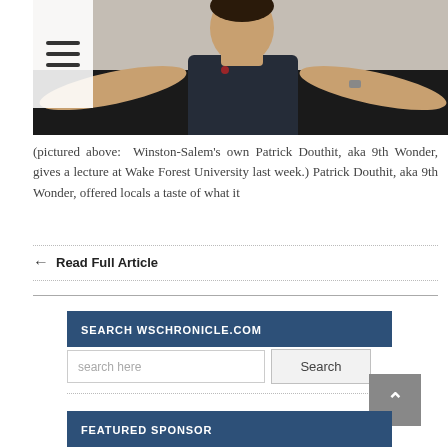[Figure (photo): Photo of Patrick Douthit (aka 9th Wonder) in a dark navy polo shirt with arms spread wide, giving a lecture at Wake Forest University. Menu hamburger icon overlay in top-left corner.]
(pictured above: Winston-Salem's own Patrick Douthit, aka 9th Wonder, gives a lecture at Wake Forest University last week.) Patrick Douthit, aka 9th Wonder, offered locals a taste of what it
Read Full Article
SEARCH WSCHRONICLE.COM
FEATURED SPONSOR